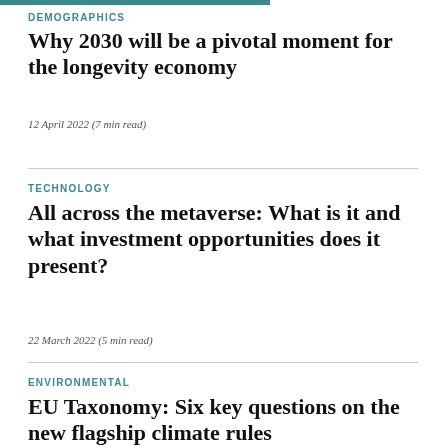DEMOGRAPHICS
Why 2030 will be a pivotal moment for the longevity economy
12 April 2022 (7 min read)
TECHNOLOGY
All across the metaverse: What is it and what investment opportunities does it present?
22 March 2022 (5 min read)
ENVIRONMENTAL
EU Taxonomy: Six key questions on the new flagship climate rules